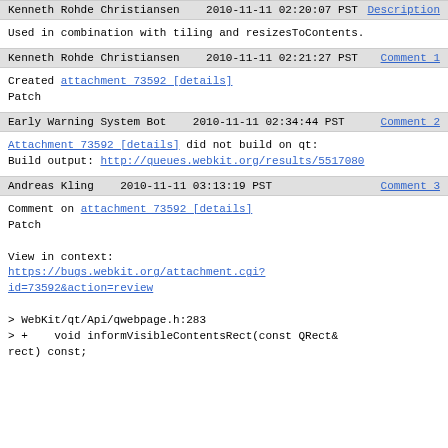Kenneth Rohde Christiansen   2010-11-11 02:20:07 PST   Description
Used in combination with tiling and resizesToContents.
Kenneth Rohde Christiansen   2010-11-11 02:21:27 PST   Comment 1
Created attachment 73592 [details]
Patch
Early Warning System Bot   2010-11-11 02:34:44 PST   Comment 2
Attachment 73592 [details] did not build on qt:
Build output: http://queues.webkit.org/results/5517080
Andreas Kling   2010-11-11 03:13:19 PST   Comment 3
Comment on attachment 73592 [details]
Patch

View in context:
https://bugs.webkit.org/attachment.cgi?id=73592&action=review

> WebKit/qt/Api/qwebpage.h:283
> +    void informVisibleContentsRect(const QRect& rect) const;